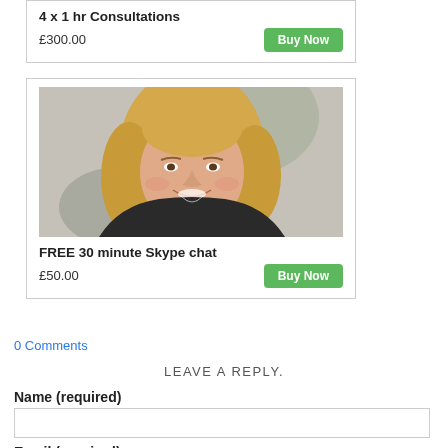4 x 1 hr Consultations
£300.00
[Figure (photo): Woman with blonde hair smiling, portrait photo for FREE 30 minute Skype chat product]
FREE 30 minute Skype chat
£50.00
Tweet
0 Comments
LEAVE A REPLY.
Name (required)